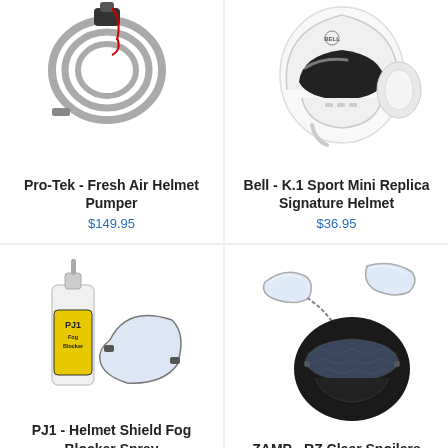[Figure (photo): Pro-Tek Fresh Air Helmet Pumper - hose and pump unit]
Pro-Tek - Fresh Air Helmet Pumper
$149.95
[Figure (photo): Bell K.1 Sport Mini Replica Signature Helmet - white racing helmet]
Bell - K.1 Sport Mini Replica Signature Helmet
$36.95
[Figure (photo): PJ1 Helmet Shield Fog Blocker Spray - bottle and visor]
PJ1 - Helmet Shield Fog Blocker Spray
$12.95
[Figure (photo): ZAMP RZ Clear Spoilers - carbon fiber helmet with clear spoiler pieces]
ZAMP - RZ Clear Spoilers
$19.95